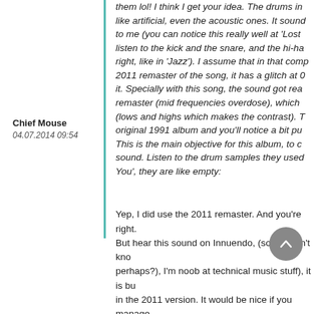them lol! I think I get your idea. The drums in like artificial, even the acoustic ones. It sound to me (you can notice this really well at 'Lost listen to the kick and the snare, and the hi-ha right, like in 'Jazz'). I assume that in that comp 2011 remaster of the song, it has a glitch at 0 it. Specially with this song, the sound got rea remaster (mid frequencies overdose), which (lows and highs which makes the contrast). T original 1991 album and you'll notice a bit pu This is the main objective for this album, to c sound. Listen to the drum samples they used You', they are like empty:
Chief Mouse
04.07.2014 09:54
Yep, I did use the 2011 remaster. And you're right. But hear this sound on Innuendo, (sorry I don't kno perhaps?), I'm noob at technical music stuff), it is bu in the 2011 version. It would be nice if you manage make it sound similar as the demo :)
Totally get you! You have it right, those are the cym the hi-hats. The cymbals that I know that...